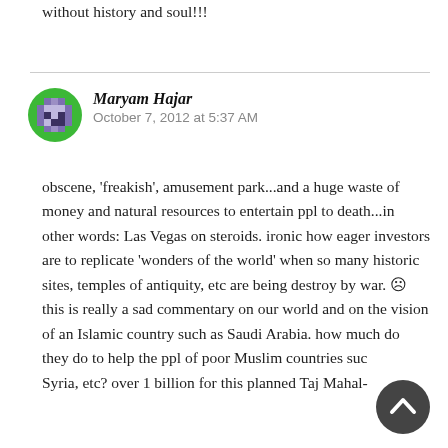without history and soul!!!
[Figure (illustration): Green pixel/avatar icon for user Maryam Hajar]
Maryam Hajar
October 7, 2012 at 5:37 AM
obscene, 'freakish', amusement park...and a huge waste of money and natural resources to entertain ppl to death...in other words: Las Vegas on steroids. ironic how eager investors are to replicate 'wonders of the world' when so many historic sites, temples of antiquity, etc are being destroy by war. ☹ this is really a sad commentary on our world and on the vision of an Islamic country such as Saudi Arabia. how much do they do to help the ppl of poor Muslim countries such as Syria, etc? over 1 billion for this planned Taj Mahal-
[Figure (illustration): Dark scroll-to-top button (circle with upward chevron) in bottom right corner]